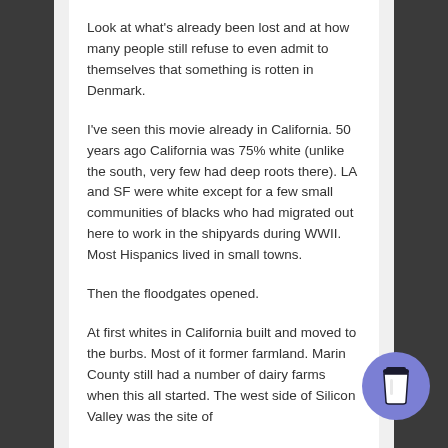Look at what's already been lost and at how many people still refuse to even admit to themselves that something is rotten in Denmark.
I've seen this movie already in California. 50 years ago California was 75% white (unlike the south, very few had deep roots there). LA and SF were white except for a few small communities of blacks who had migrated out here to work in the shipyards during WWII. Most Hispanics lived in small towns.
Then the floodgates opened.
At first whites in California built and moved to the burbs. Most of it former farmland. Marin County still had a number of dairy farms when this all started. The west side of Silicon Valley was the site of
[Figure (illustration): Blue circular button with a coffee cup icon (take-away cup with lid), positioned at bottom right of page]